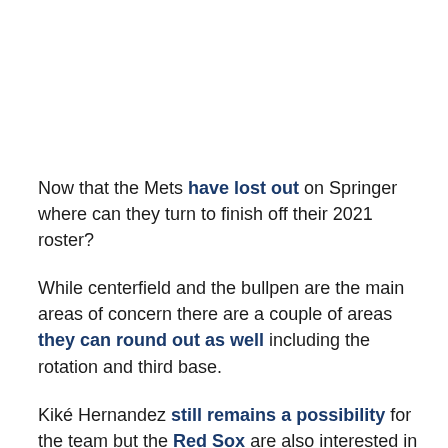Now that the Mets have lost out on Springer where can they turn to finish off their 2021 roster?
While centerfield and the bullpen are the main areas of concern there are a couple of areas they can round out as well including the rotation and third base.
Kiké Hernandez still remains a possibility for the team but the Red Sox are also interested in the former Dodger.
After the dismissal of Jared Porter the Mets will have